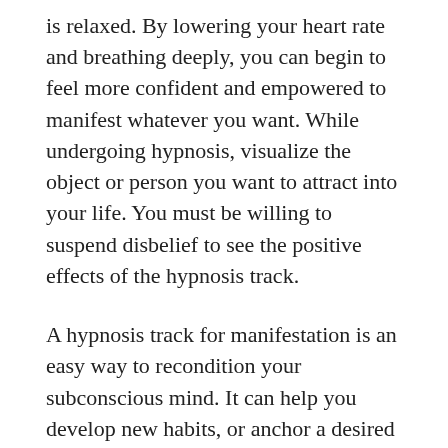is relaxed. By lowering your heart rate and breathing deeply, you can begin to feel more confident and empowered to manifest whatever you want. While undergoing hypnosis, visualize the object or person you want to attract into your life. You must be willing to suspend disbelief to see the positive effects of the hypnosis track.
A hypnosis track for manifestation is an easy way to recondition your subconscious mind. It can help you develop new habits, or anchor a desired goal deep into your subconscious mind. If you are unsure of how to hypnotize yourself, don't worry. It's nothing like the Stage Hypnosis shows or what you see on TV. Talk to a real hypnotist to get a better idea of what hypnosis can do for you. There are many ways to hypnotize yourself, and if you have a strong